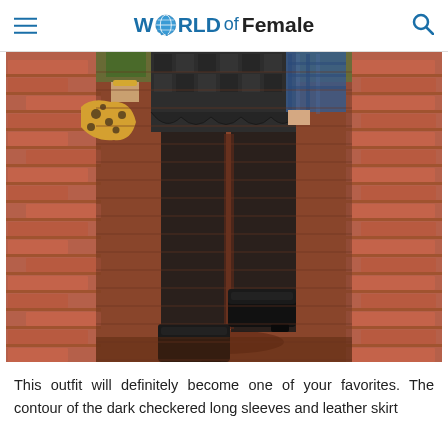W●RLD of Female
[Figure (photo): Woman walking on red brick path wearing a dark checkered mini skirt, black sheer tights, black ankle boots, holding a leopard print clutch. Only the lower body from waist down is visible.]
This outfit will definitely become one of your favorites. The contour of the dark checkered long sleeves and leather skirt